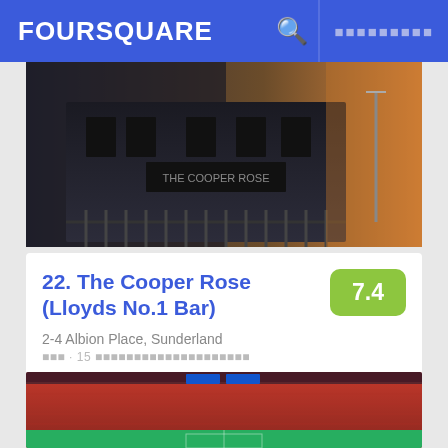FOURSQUARE
[Figure (photo): Exterior photo of The Cooper Rose / Lloyds No.1 Bar building at dusk, dark brick facade with iron railings and golden sky]
22. The Cooper Rose (Lloyds No.1 Bar)
2-4 Albion Place, Sunderland
Bar · 15 □□□□□□□□□□□□□□□□□□□□□
Carl Griffin: Lively Wetherspoons. Cheap real ales and food.
[Figure (photo): Aerial view of a football stadium with red seats packed with fans and green pitch visible]